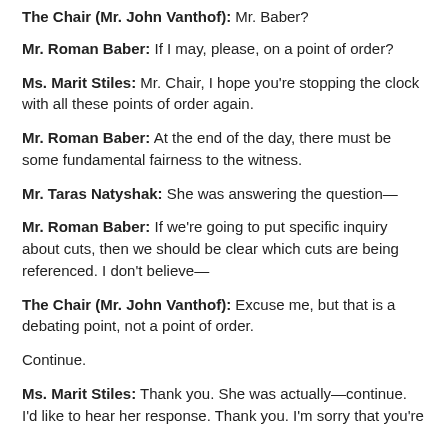The Chair (Mr. John Vanthof): Mr. Baber?
Mr. Roman Baber: If I may, please, on a point of order?
Ms. Marit Stiles: Mr. Chair, I hope you're stopping the clock with all these points of order again.
Mr. Roman Baber: At the end of the day, there must be some fundamental fairness to the witness.
Mr. Taras Natyshak: She was answering the question—
Mr. Roman Baber: If we're going to put specific inquiry about cuts, then we should be clear which cuts are being referenced. I don't believe—
The Chair (Mr. John Vanthof): Excuse me, but that is a debating point, not a point of order.
Continue.
Ms. Marit Stiles: Thank you. She was actually—continue. I'd like to hear her response. Thank you. I'm sorry that you're